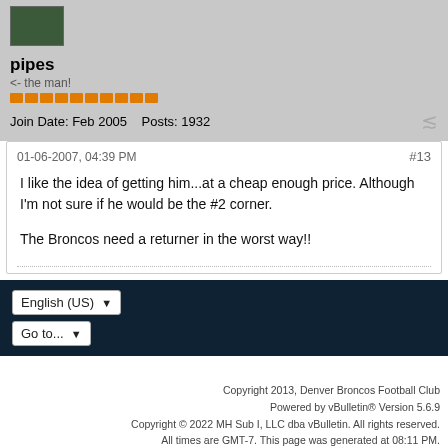[Figure (photo): User avatar image for 'pipes' - dark green/teal game-style graphic]
pipes
<- the man!
Join Date: Feb 2005    Posts: 1932
01-06-2007, 04:39 PM   #13
I like the idea of getting him...at a cheap enough price. Although I'm not sure if he would be the #2 corner.

The Broncos need a returner in the worst way!!
English (US)  ▾
Go to...  ▾
Copyright 2013, Denver Broncos Football Club
Powered by vBulletin® Version 5.6.9
Copyright © 2022 MH Sub I, LLC dba vBulletin. All rights reserved.
All times are GMT-7. This page was generated at 08:11 PM.